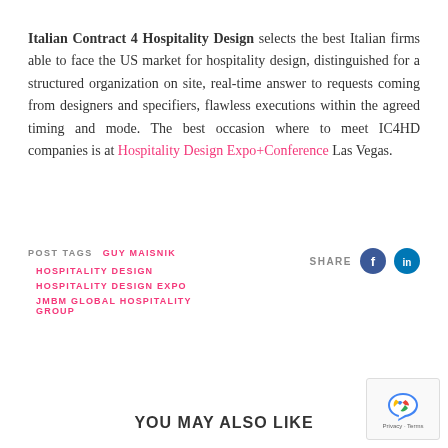Italian Contract 4 Hospitality Design selects the best Italian firms able to face the US market for hospitality design, distinguished for a structured organization on site, real-time answer to requests coming from designers and specifiers, flawless executions within the agreed timing and mode. The best occasion where to meet IC4HD companies is at Hospitality Design Expo+Conference Las Vegas.
POST TAGS  GUY MAISNIK  HOSPITALITY DESIGN  HOSPITALITY DESIGN EXPO  JMBM GLOBAL HOSPITALITY GROUP
SHARE
YOU MAY ALSO LIKE